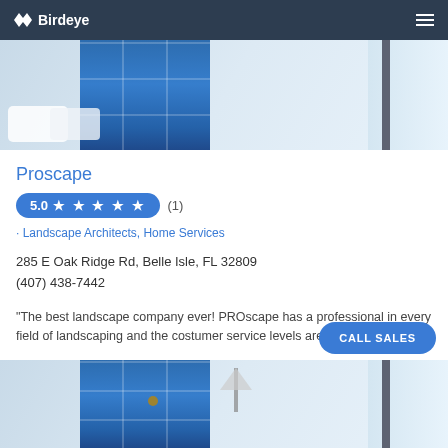Birdeye
[Figure (photo): Interior room photo showing blue-tinted windows/doors and white pillows/curtains]
Proscape
5.0 ★ ★ ★ ★ ★ (1)
· Landscape Architects, Home Services
285 E Oak Ridge Rd, Belle Isle, FL 32809
(407) 438-7442
"The best landscape company ever! PROscape has a professional in every field of landscaping and the costumer service levels are increida"...
[Figure (photo): Interior room photo showing blue-tinted windows/doors and lamp, bottom portion]